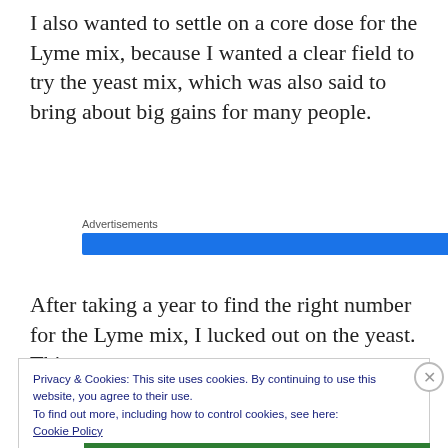I also wanted to settle on a core dose for the Lyme mix, because I wanted a clear field to try the yeast mix, which was also said to bring about big gains for many people.
Advertisements
After taking a year to find the right number for the Lyme mix, I lucked out on the yeast. This
Privacy & Cookies: This site uses cookies. By continuing to use this website, you agree to their use.
To find out more, including how to control cookies, see here:
Cookie Policy
Close and accept